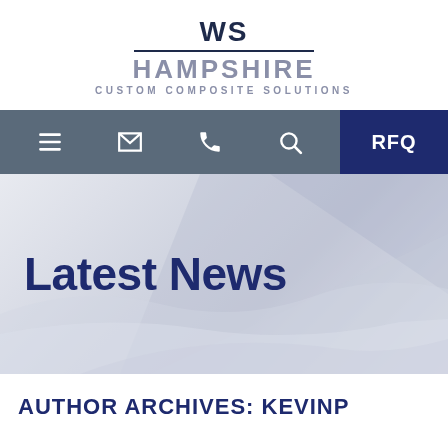[Figure (logo): WS Hampshire Custom Composite Solutions logo with WS in bold navy, HAMPSHIRE in grey, CUSTOM COMPOSITE SOLUTIONS tagline]
[Figure (screenshot): Navigation bar with hamburger menu, email, phone, search icons and RFQ button in navy]
[Figure (infographic): Hero banner with diagonal geometric shapes in light grey/blue background]
Latest News
AUTHOR ARCHIVES: KEVINP